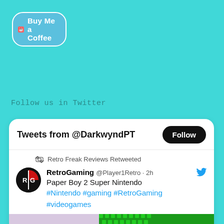[Figure (logo): Buy Me a Coffee button with heart/coffee cup icon]
Follow us in Twitter
[Figure (screenshot): Twitter widget showing Tweets from @DarkwyndPT with a Follow button, a retweet by Retro Freak Reviews of RetroGaming @Player1Retro tweet about Paper Boy 2 Super Nintendo with hashtags #Nintendo #gaming #RetroGaming #videogames, and a game screenshot preview]